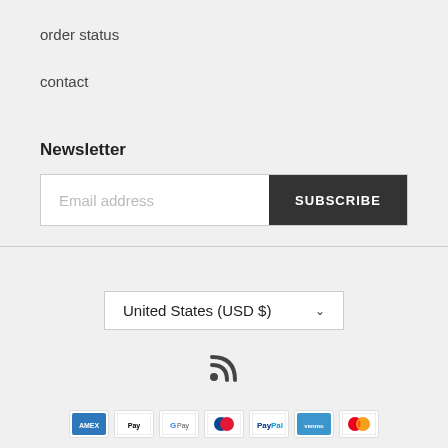order status
contact
Newsletter
[Figure (screenshot): Email address input field with SUBSCRIBE button]
[Figure (infographic): United States (USD $) country/currency selector dropdown]
[Figure (infographic): RSS feed icon]
[Figure (infographic): Row of payment method icons: American Express, Apple Pay, Google Pay, Diners Club, PayPal, Venmo, Mastercard and others]